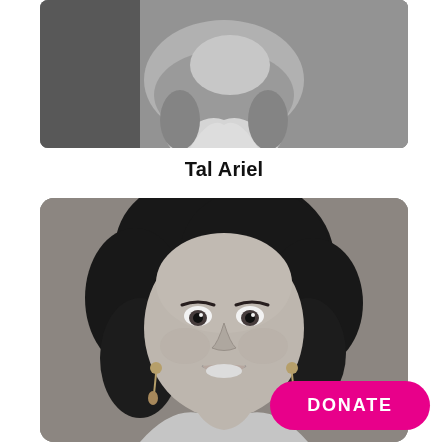[Figure (photo): Black and white photo of a man (lower face and neck visible), cropped at top of page]
Tal Ariel
[Figure (photo): Black and white portrait photo of a smiling woman with short dark hair and dangling earrings, on a gray background]
DONATE